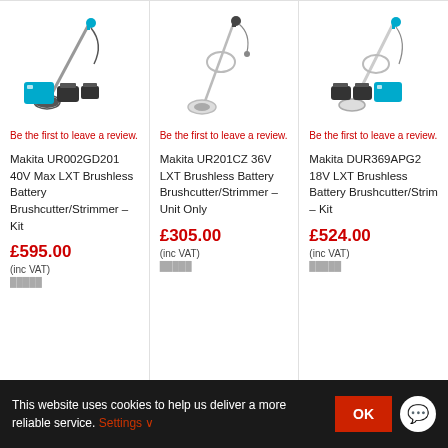[Figure (photo): Makita UR002GD201 40V Max LXT Brushless Battery Brushcutter/Strimmer with charger and batteries]
Be the first to leave a review.
Makita UR002GD201 40V Max LXT Brushless Battery Brushcutter/Strimmer – Kit
£595.00
(inc VAT)
[Figure (photo): Makita UR201CZ 36V LXT Brushless Battery Brushcutter/Strimmer unit only]
Be the first to leave a review.
Makita UR201CZ 36V LXT Brushless Battery Brushcutter/Strimmer – Unit Only
£305.00
(inc VAT)
[Figure (photo): Makita DUR369APG2 18V LXT Brushless Battery Brushcutter/Strimmer with charger and batteries]
Be the first to leave a review.
Makita DUR369APG2 18V LXT Brushless Battery Brushcutter/Strimmer – Kit
£524.00
(inc VAT)
This website uses cookies to help us deliver a more reliable service. Settings ∨
OK